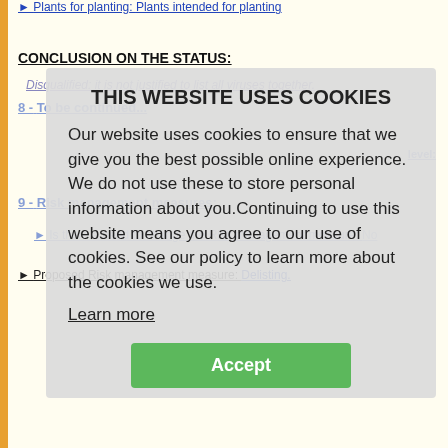Plants for planting: Plants intended for planting
CONCLUSION ON THE STATUS:
Disqualified: it is not justified to list all viruses together.
8 - To be continued...
level:
9 - Risk management measures:
Is there a need to change the Risk management measure: No
Proposed Risk management measure: Delisting.
[Figure (other): Cookie consent overlay popup with title 'THIS WEBSITE USES COOKIES', body text explaining cookie usage, a 'Learn more' link, and an 'Accept' green button.]